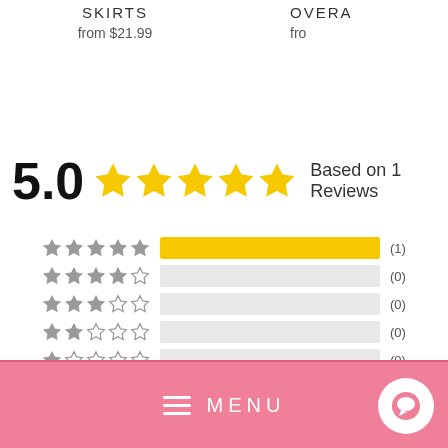SKIRTS
from $21.99
OVERA...
fro...
[Figure (infographic): 5.0 star rating with 5 filled yellow stars, text 'Based on 1 Reviews', and a bar chart breakdown: 5-star (1), 4-star (0), 3-star (0), 2-star (0), 1-star (0)]
≡  MENU